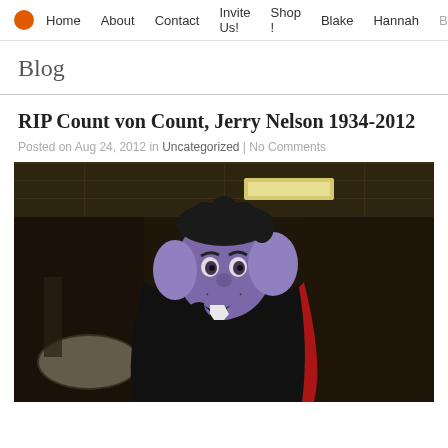Home  About  Contact  Invite Us!  Shop!  Blake  Hannah  Blog
Blog
RIP Count von Count, Jerry Nelson 1934-2012
Posted on Aug 24, 2012 in Uncategorized | No Comments
[Figure (photo): Person dressed in Count von Count costume from Sesame Street, wearing purple face makeup and large purple ears, black curly hair, vampire cape with red lining, photographed indoors in what appears to be a room with ceiling lights.]